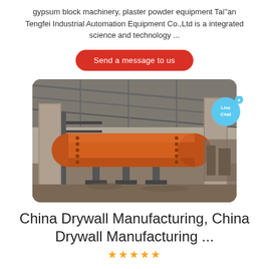gypsum block machinery, plaster powder equipment Tai''an Tengfei Industrial Automation Equipment Co.,Ltd is a integrated science and technology ...
Send a message to us
[Figure (photo): Industrial facility interior showing a large orange cylindrical drum/rotary kiln equipment inside a steel-frame building under construction, with concrete pillars and bare ground.]
China Drywall Manufacturing, China Drywall Manufacturing ...
★★★★★